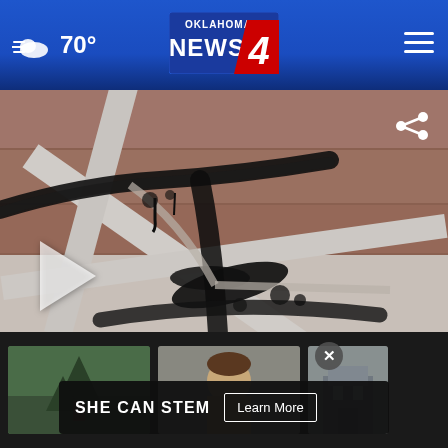70° — Oklahoma's News 4
[Figure (screenshot): Close-up photo of black mold growing along window frame corner in a dormitory, showing dark mold accumulation along metal/plastic frame edges]
OU STUDENTS SAY MOLDY DORMS ARE MAKING THEM SICK
[Figure (screenshot): Advertisement overlay at bottom: SHE CAN STEM - Learn More button, with three thumbnail images of news stories below]
SHE CAN STEM  Learn More